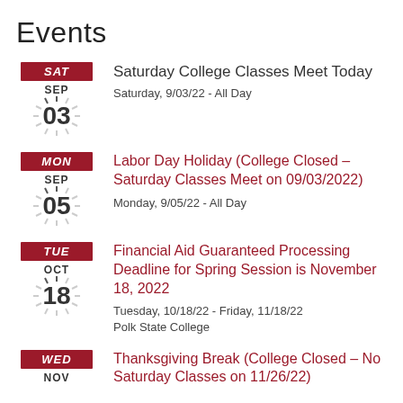Events
SAT | Saturday College Classes Meet Today | Saturday, 9/03/22 - All Day
MON | Labor Day Holiday (College Closed – Saturday Classes Meet on 09/03/2022) | Monday, 9/05/22 - All Day
TUE | Financial Aid Guaranteed Processing Deadline for Spring Session is November 18, 2022 | Tuesday, 10/18/22 - Friday, 11/18/22 | Polk State College
WED | Thanksgiving Break (College Closed – No Saturday Classes on 11/26/22) | NOV 23